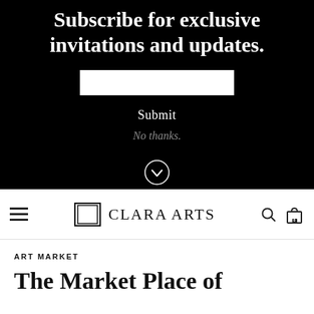Subscribe for exclusive invitations and updates.
[Figure (screenshot): White email input box for newsletter subscription]
Submit
No thanks.
[Figure (other): Chevron down arrow inside circle]
CLARA ARTS
ART MARKET
The Market Place of